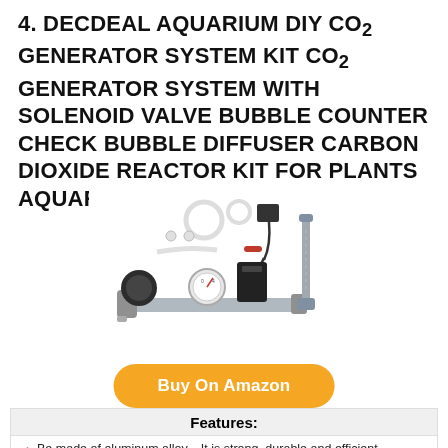4. DECDEAL AQUARIUM DIY CO2 GENERATOR SYSTEM KIT CO2 GENERATOR SYSTEM WITH SOLENOID VALVE BUBBLE COUNTER CHECK BUBBLE DIFFUSER CARBON DIOXIDE REACTOR KIT FOR PLANTS AQUARIUM
[Figure (photo): Product photo of DECDEAL Aquarium CO2 Generator System Kit showing a stainless steel regulator assembly with solenoid valve and pressure gauge, along with accessories including tubing, power adapter, and other components.]
Buy On Amazon
| Features: |
| --- |
| Be made of aluminum alloy，It is strong, durable and efficient. |
| Solenoid valve，The control the on/off of CO2, convenient... |